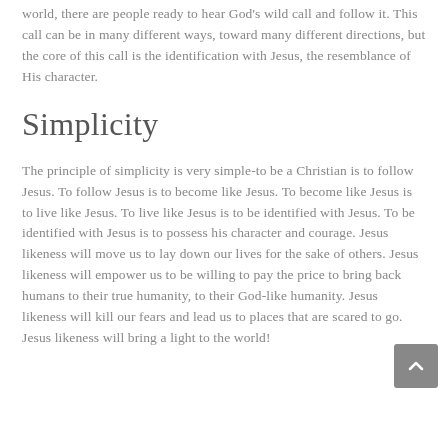world, there are people ready to hear God's wild call and follow it. This call can be in many different ways, toward many different directions, but the core of this call is the identification with Jesus, the resemblance of His character.
Simplicity
The principle of simplicity is very simple-to be a Christian is to follow Jesus. To follow Jesus is to become like Jesus. To become like Jesus is to live like Jesus. To live like Jesus is to be identified with Jesus. To be identified with Jesus is to possess his character and courage. Jesus likeness will move us to lay down our lives for the sake of others. Jesus likeness will empower us to be willing to pay the price to bring back humans to their true humanity, to their God-like humanity. Jesus likeness will kill our fears and lead us to places that are scared to go. Jesus likeness will bring a light to the world!